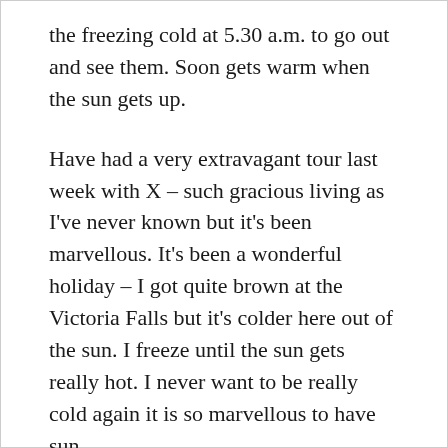the freezing cold at 5.30 a.m. to go out and see them. Soon gets warm when the sun gets up.
Have had a very extravagant tour last week with X – such gracious living as I've never known but it's been marvellous. It's been a wonderful holiday – I got quite brown at the Victoria Falls but it's colder here out of the sun. I freeze until the sun gets really hot. I never want to be really cold again it is so marvellous to have sun.
On Wednesday we went to Orakei Korako